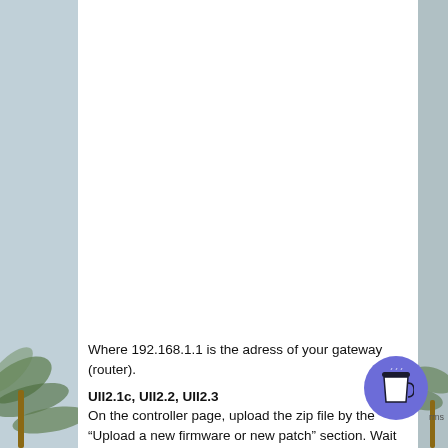Where 192.168.1.1 is the adress of your gateway (router).
UII2.1c, UII2.2, UII2.3
On the controller page, upload the zip file by the "Upload a new firmware or new patch" section. Wait the